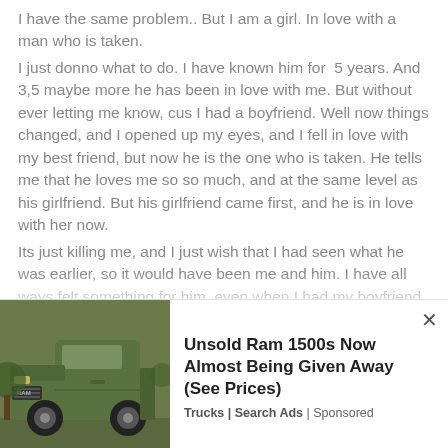I have the same problem.. But I am a girl. In love with a man who is taken.
I just donno what to do. I have known him for 5 years. And 3,5 maybe more he has been in love with me. But without ever letting me know, cus I had a boyfriend. Well now things changed, and I opened up my eyes, and I fell in love with my best friend, but now he is the one who is taken. He tells me that he loves me so so much, and at the same level as his girlfriend. But his girlfriend came first, and he is in love with her now.
Its just killing me, and I just wish that I had seen what he was earlier, so it would have been me and him. I have all ways felt something for him, even when I had my boyfriend. I just never thought it could happen.
I am crying so much all the time, because I told him about me
[Figure (photo): Advertisement banner showing a green Ram 1500 truck with text: Unsold Ram 1500s Now Almost Being Given Away (See Prices). Trucks | Search Ads | Sponsored]